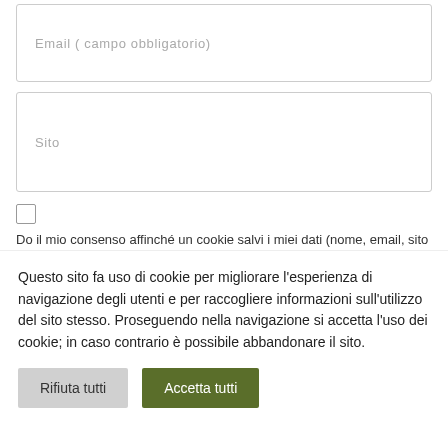Email ( campo obbligatorio)
Sito
Do il mio consenso affinché un cookie salvi i miei dati (nome, email, sito web) per il prossimo commento.
INVIA COMMENTO
Questo sito fa uso di cookie per migliorare l'esperienza di navigazione degli utenti e per raccogliere informazioni sull'utilizzo del sito stesso. Proseguendo nella navigazione si accetta l'uso dei cookie; in caso contrario è possibile abbandonare il sito.
Rifiuta tutti
Accetta tutti